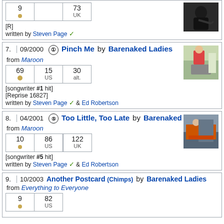| # | UK |
| --- | --- |
| 9 | 73 |
| • | UK |
[R]
written by Steven Page ✓
[Figure (photo): Black and white photo of musician playing guitar]
|  | Date | Chart | Title | Artist |
| --- | --- | --- | --- | --- |
| 7. | 09/2000 | ① | Pinch Me by Barenaked Ladies | from Maroon |
| Peak | US | alt. |
| --- | --- | --- |
| 69 | 15 | 30 |
[songwriter #1 hit]
[Reprise 16827]
written by Steven Page ✓ & Ed Robertson
[Figure (photo): Photo of person in red hat working outdoors]
|  | Date | Chart | Title | Artist |
| --- | --- | --- | --- | --- |
| 8. | 04/2001 | ⑤ | Too Little, Too Late by Barenaked Ladies | from Maroon |
| Peak | US | UK |
| --- | --- | --- |
| 10 | 86 | 122 |
[songwriter #5 hit]
written by Steven Page ✓ & Ed Robertson
[Figure (photo): Photo of people working with orange equipment]
|  | Date | Title | Artist |
| --- | --- | --- | --- |
| 9. | 10/2003 | Another Postcard (Chimps) by Barenaked Ladies | from Everything to Everyone |
| Peak | US |
| --- | --- |
| 9 | 82 |